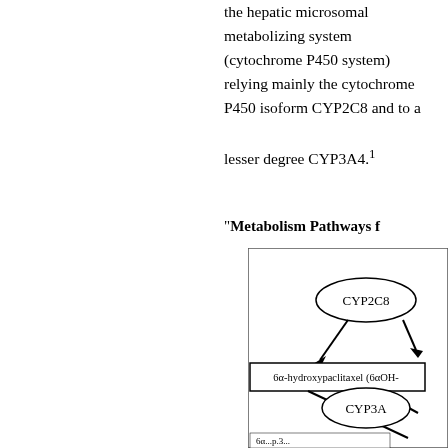the hepatic microsomal metabolizing system (cytochrome P450 system) relying mainly the cytochrome P450 isoform CYP2C8 and to a lesser degree CYP3A4.¹
"Metabolism Pathways f...
[Figure (flowchart): Metabolism pathway diagram showing CYP2C8 enzyme with arrow pointing to 6α-hydroxypaclitaxel (6αOH-...) box, and CYP3A enzyme below, with partial text at bottom showing 6α...p.3...]